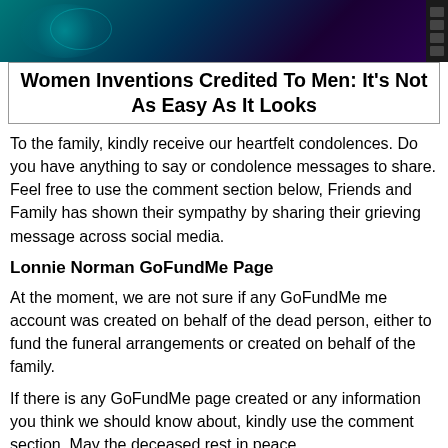[Figure (photo): Dark teal and purple digital/tech themed header image with a globe and film strip on the right edge]
Women Inventions Credited To Men: It's Not As Easy As It Looks
To the family, kindly receive our heartfelt condolences. Do you have anything to say or condolence messages to share. Feel free to use the comment section below, Friends and Family has shown their sympathy by sharing their grieving message across social media.
Lonnie Norman GoFundMe Page
At the moment, we are not sure if any GoFundMe me account was created on behalf of the dead person, either to fund the funeral arrangements or created on behalf of the family.
If there is any GoFundMe page created or any information you think we should know about, kindly use the comment section. May the deceased rest in peace.
Little acts such as tributes and prayers can go a long way to